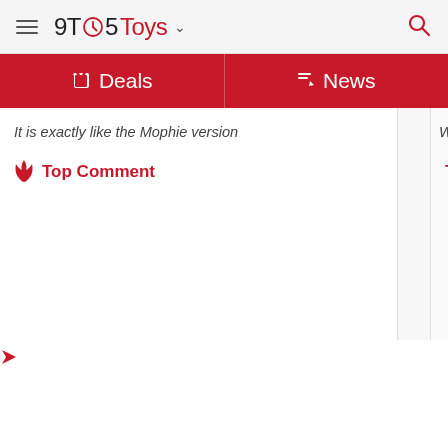9TO5Toys
Deals | News
It is exactly like the Mophie version
Top Comment
We sti...
To...